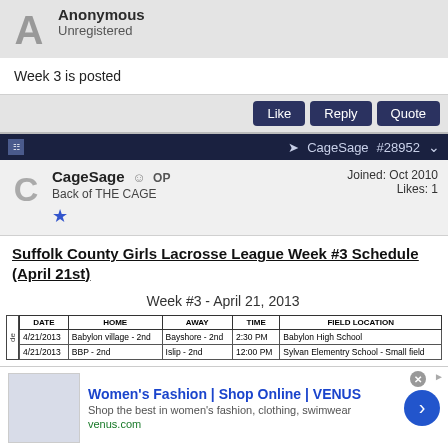Anonymous
Unregistered
Week 3 is posted
Like  Reply  Quote
CageSage  OP  Back of THE CAGE  Joined: Oct 2010  Likes: 1
Suffolk County Girls Lacrosse League Week #3 Schedule (April 21st)
Week #3 - April 21, 2013
| DATE | HOME | AWAY | TIME | FIELD LOCATION |
| --- | --- | --- | --- | --- |
| 4/21/2013 | Babylon village - 2nd | Bayshore - 2nd | 2:30 PM | Babylon High School |
| 4/21/2013 | BBP - 2nd | Islip - 2nd | 12:00 PM | Sylvan Elementry School - Small field |
Women's Fashion | Shop Online | VENUS
Shop the best in women's fashion, clothing, swimwear
venus.com